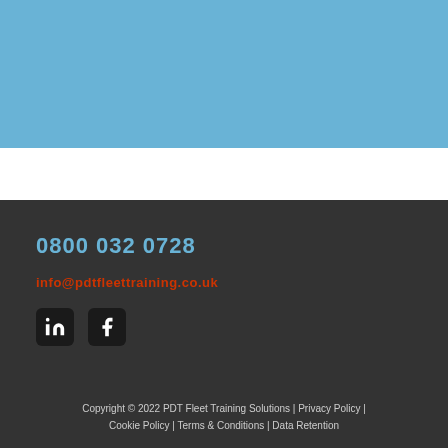[Figure (other): Blue banner image placeholder at top of page]
0800 032 0728
info@pdtfleettraining.co.uk
[Figure (other): LinkedIn and Facebook social media icons]
Copyright © 2022 PDT Fleet Training Solutions | Privacy Policy | Cookie Policy | Terms & Conditions | Data Retention